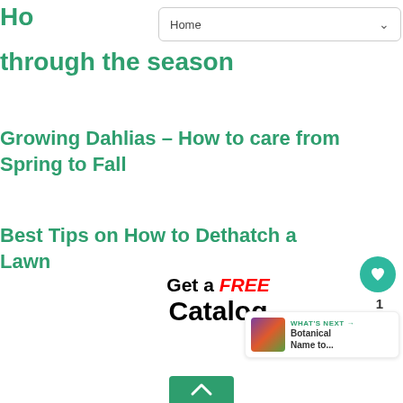[Figure (screenshot): Navigation bar with 'Home' label and dropdown arrow]
Ho... through the season
Growing Dahlias – How to care from Spring to Fall
Best Tips on How to Dethatch a Lawn
[Figure (infographic): Get a FREE Catalog banner with black and red text]
[Figure (other): Heart/like button with count 1, and share button]
[Figure (other): WHAT'S NEXT card: Botanical Name to... with thumbnail]
[Figure (other): Scroll to top green button]